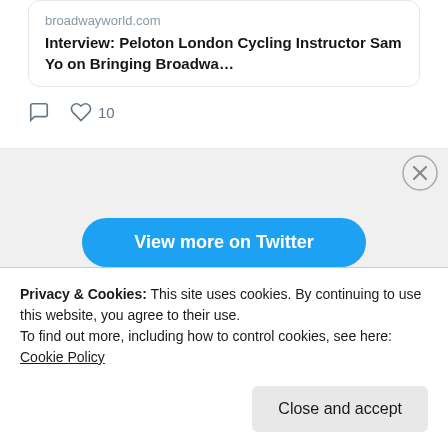[Figure (screenshot): Twitter embedded widget showing a tweet card with link to broadwayworld.com article titled 'Interview: Peloton London Cycling Instructor Sam Yo on Bringing Broadwa...' with comment and like (10) action icons below]
[Figure (screenshot): Gray Twitter embed footer section with blue 'View more on Twitter' pill button and 'Learn more about privacy on Twitter' text with info icon, and close X button]
CATEGORIES
Privacy & Cookies: This site uses cookies. By continuing to use this website, you agree to their use.
To find out more, including how to control cookies, see here: Cookie Policy
Close and accept